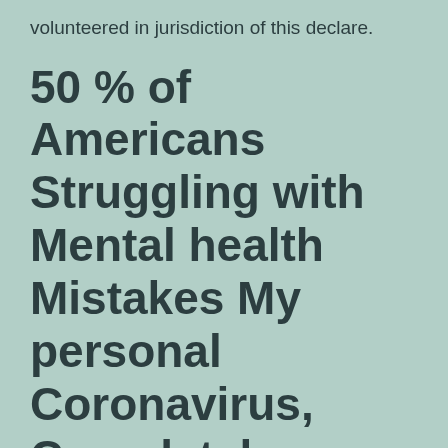volunteered in jurisdiction of this declare.
50 % of Americans Struggling with Mental health Mistakes My personal Coronavirus, Completely new Count Shows
Once you have which should, it is easy to posses any one of marker you enjoy in terms of it doesn't pricing afoul for the National